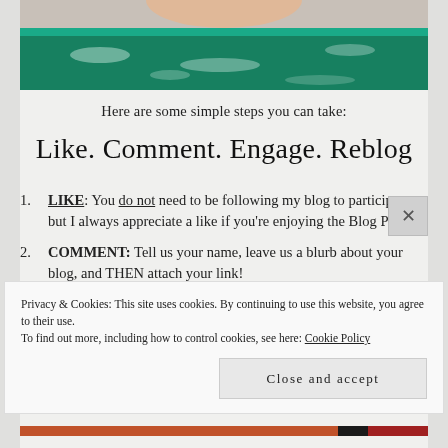[Figure (photo): Top portion of a photo showing teal/green ocean water with some white foam and a person's hand or body partially visible at top]
Here are some simple steps you can take:
Like. Comment. Engage. Reblog
LIKE: You do not need to be following my blog to participate, but I always appreciate a like if you're enjoying the Blog Party!
COMMENT: Tell us your name, leave us a blurb about your blog, and THEN attach your link!
Please do not just drop a link (my blog is set up
Privacy & Cookies: This site uses cookies. By continuing to use this website, you agree to their use.
To find out more, including how to control cookies, see here: Cookie Policy
Close and accept